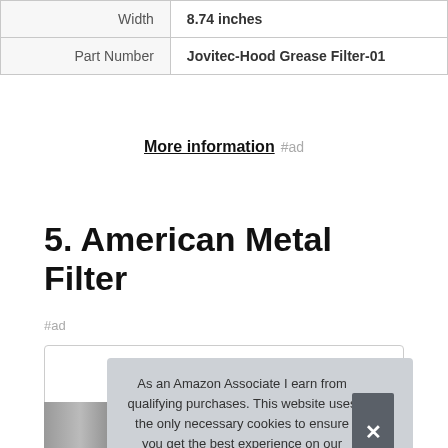| Width | 8.74 inches |
| Part Number | Jovitec-Hood Grease Filter-01 |
More information #ad
5. American Metal Filter
#ad
As an Amazon Associate I earn from qualifying purchases. This website uses the only necessary cookies to ensure you get the best experience on our website. More information
[Figure (photo): Product image of American Metal Filter partially visible at bottom]